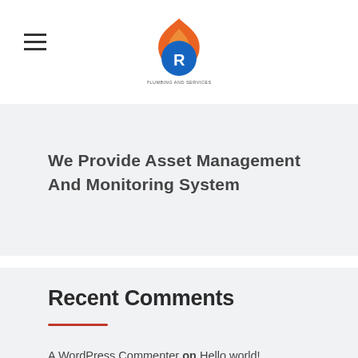[Figure (logo): Circular logo with flame icon on top in orange, blue circular emblem with letter R, text below reading PLUMBING AND SERVICES]
We Provide Asset Management And Monitoring System
Recent Comments
A WordPress Commenter on Hello world!
pulaknondi on Conditions matter family active mutual